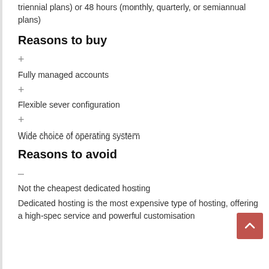triennial plans) or 48 hours (monthly, quarterly, or semiannual plans)
Reasons to buy
+ 
Fully managed accounts
+ 
Flexible sever configuration
+ 
Wide choice of operating system
Reasons to avoid
– 
Not the cheapest dedicated hosting
Dedicated hosting is the most expensive type of hosting, offering a high-spec service and powerful customisation